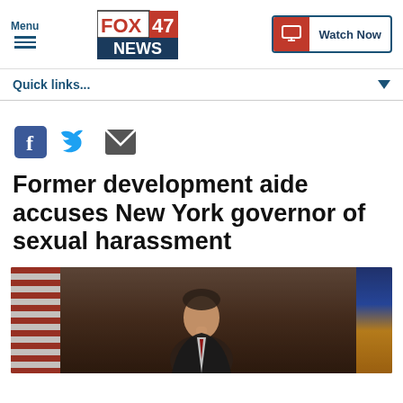Menu | FOX 47 NEWS | Watch Now
Quick links...
[Figure (other): Social sharing icons: Facebook, Twitter, Email]
Former development aide accuses New York governor of sexual harassment
[Figure (photo): Photo of a man (governor) standing in front of American flags and an official seal/backdrop]